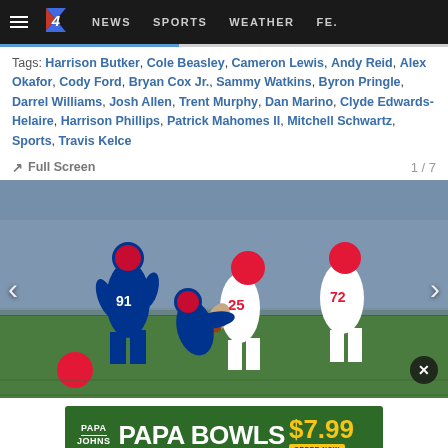≡ 4  NEWS  SPORTS  WEATHER  FE.
Tags: Harrison Butker, Cole Beasley, Cameron Lewis, Andy Reid, Alex Okafor, Cody Ford, Bryan Cox Jr., Sammy Watkins, Byron Pringle, Darrel Williams, Josh Allen, Trent Murphy, Dan Marino, Clyde Edwards-Helaire, Harrison Phillips, Patrick Mahomes II, Mitchell Schwartz, Sports, Travis Kelce
Full Screen  1 / 7
[Figure (photo): NFL game action photo: Kansas City Chiefs players in red and white uniforms running with the ball, being tackled by Buffalo Bills players in blue jerseys. Player #91 in blue and player #72 in red/white are visible.]
[Figure (other): Papa John's advertisement banner: PAPA BOWLS $7.99 ORDER NOW on a green background]